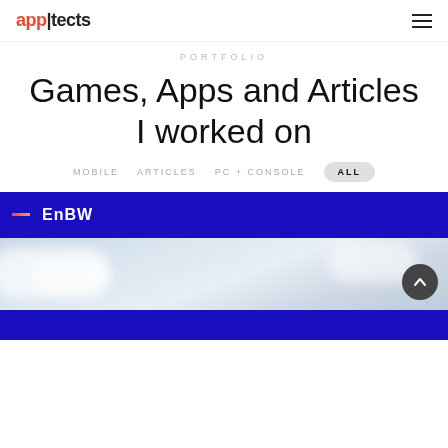app|tects
PORTFOLIO
Games, Apps and Articles I worked on
MOBILE
ARTICLES
PC + CONSOLE
ALL
[Figure (screenshot): EnBW branded card with dark blue background showing the EnBW logo with orange dash, and a sky/clouds image below it]